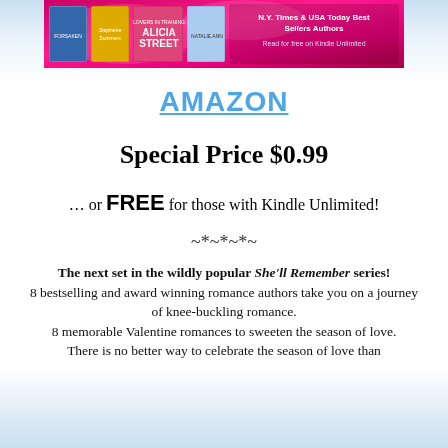[Figure (illustration): Banner image showing book covers against a bright pink/magenta floral background with text 'N.Y. Times & USA Today Best Sellers Authors' and 'Read for free on Kindle Unlimited']
AMAZON
Special Price $0.99
… or FREE for those with Kindle Unlimited!
~*~*~*~
The next set in the wildly popular She'll Remember series! 8 bestselling and award winning romance authors take you on a journey of knee-buckling romance. 8 memorable Valentine romances to sweeten the season of love. There is no better way to celebrate the season of love than